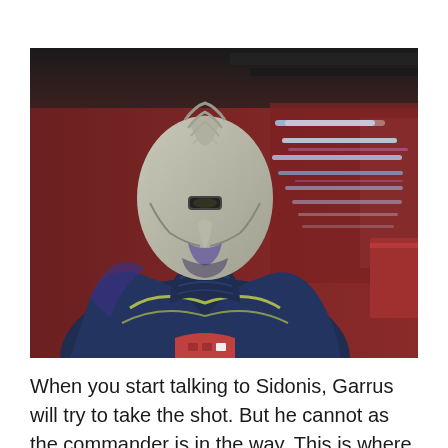[Figure (screenshot): Screenshot from the video game Mass Effect showing Garrus Vakarian, a Turian character with grey scaled reptilian features, wearing dark blue armor with yellow trim and a red chest piece. Glowing blue-white light streaks are visible in the background against a dark red/maroon environment.]
When you start talking to Sidonis, Garrus will try to take the shot. But he cannot as the commander is in the way. This is where the conversation begins where you will get different choices. You can let